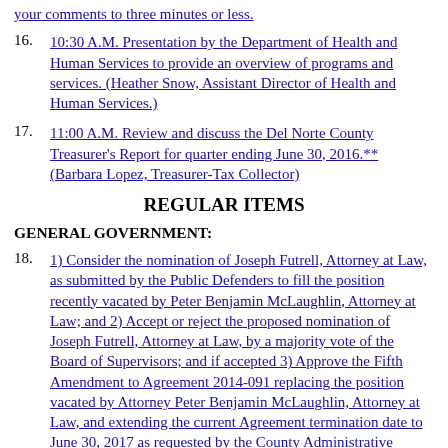your comments to three minutes or less.
16. 10:30 A.M. Presentation by the Department of Health and Human Services to provide an overview of programs and services. (Heather Snow, Assistant Director of Health and Human Services.)
17. 11:00 A.M. Review and discuss the Del Norte County Treasurer's Report for quarter ending June 30, 2016.** (Barbara Lopez, Treasurer-Tax Collector)
REGULAR ITEMS
GENERAL GOVERNMENT:
18. 1) Consider the nomination of Joseph Futrell, Attorney at Law, as submitted by the Public Defenders to fill the position recently vacated by Peter Benjamin McLaughlin, Attorney at Law; and 2) Accept or reject the proposed nomination of Joseph Futrell, Attorney at Law, by a majority vote of the Board of Supervisors; and if accepted 3) Approve the Fifth Amendment to Agreement 2014-091 replacing the position vacated by Attorney Peter Benjamin McLaughlin, Attorney at Law, and extending the current Agreement termination date to June 30, 2017 as requested by the County Administrative Office.